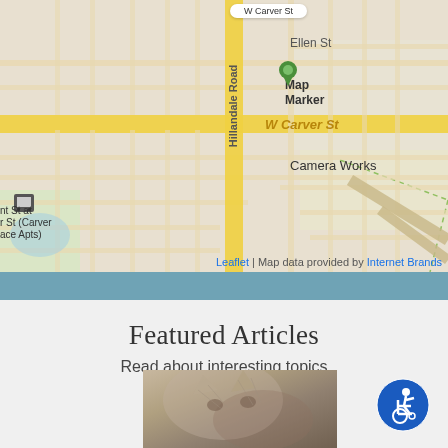[Figure (map): Street map showing area around W Carver St and Hillandale Road with map marker, Camera Works label, route 157, and bus stop icons. Shows Ellen St, W Carver St, Hillandale Road. Leaflet map with Internet Brands data attribution.]
Leaflet | Map data provided by Internet Brands
Featured Articles
Read about interesting topics
[Figure (photo): Close-up photo of a cat, sepia/grayscale tones]
[Figure (illustration): Blue circle accessibility icon showing person in wheelchair]